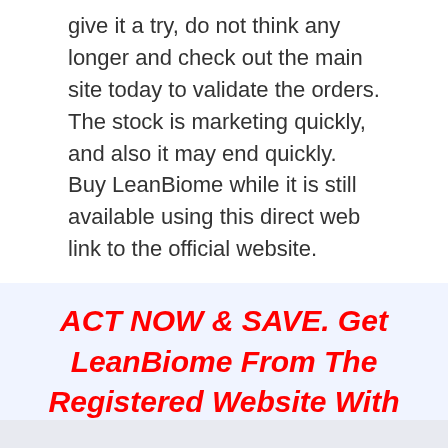give it a try, do not think any longer and check out the main site today to validate the orders. The stock is marketing quickly, and also it may end quickly. Buy LeanBiome while it is still available using this direct web link to the official website.
ACT NOW & SAVE. Get LeanBiome From The Registered Website With Approximately 50% OFF Click Here->